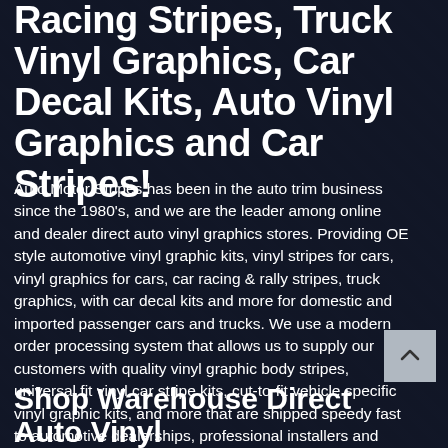Racing Stripes, Truck Vinyl Graphics, Car Decal Kits, Auto Vinyl Graphics and Car Stripes!
Auto Motor Stripes has been in the auto trim business since the 1980’s, and we are the leader among online and dealer direct auto vinyl graphics stores. Providing OE style automotive vinyl graphic kits, vinyl stripes for cars, vinyl graphics for cars, car racing & rally stripes, truck graphics, with car decal kits and more for domestic and imported passenger cars and trucks. We use a modern order processing system that allows us to supply our customers with quality vinyl graphic body stripes, universal fit vinyl car stripe kits, cut-to-fit vehicle specific vinyl graphic kits, and more that are shipped speedy fast to automotive dealerships, professional installers and retail customers in the United States, Canada and world-wide. Our auto vinyl graphic kits warehouses are located across the USA which means your orders will ship fast so you can have them quickly for installation.
Shop Warehouse Direct Auto Vinyl